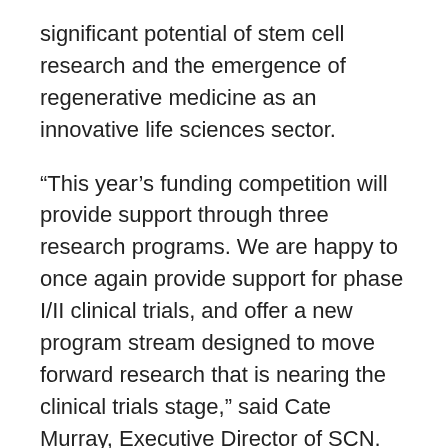significant potential of stem cell research and the emergence of regenerative medicine as an innovative life sciences sector.
“This year’s funding competition will provide support through three research programs. We are happy to once again provide support for phase I/II clinical trials, and offer a new program stream designed to move forward research that is nearing the clinical trials stage,” said Cate Murray, Executive Director of SCN. She added, “As always, SCN will support novel projects that are multidisciplinary in nature and are globally relevant.”
Call for Proposals for all funding programs will be